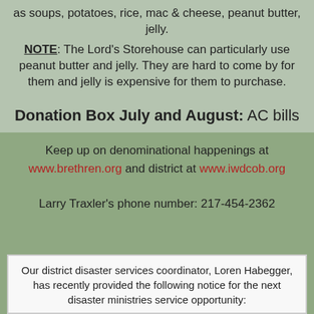as soups, potatoes, rice, mac & cheese, peanut butter, jelly. NOTE: The Lord's Storehouse can particularly use peanut butter and jelly. They are hard to come by for them and jelly is expensive for them to purchase.
Donation Box July and August: AC bills
Keep up on denominational happenings at www.brethren.org and district at www.iwdcob.org
Larry Traxler's phone number: 217-454-2362
Our district disaster services coordinator, Loren Habegger, has recently provided the following notice for the next disaster ministries service opportunity: